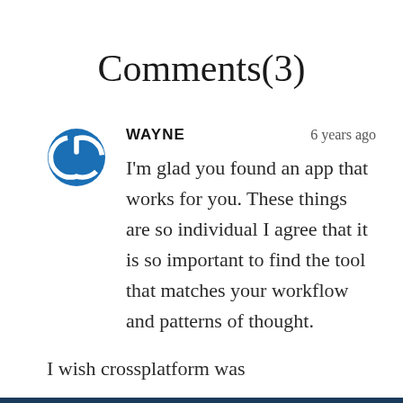Comments(3)
WAYNE   6 years ago
I'm glad you found an app that works for you. These things are so individual I agree that it is so important to find the tool that matches your workflow and patterns of thought.
I wish crossplatform was